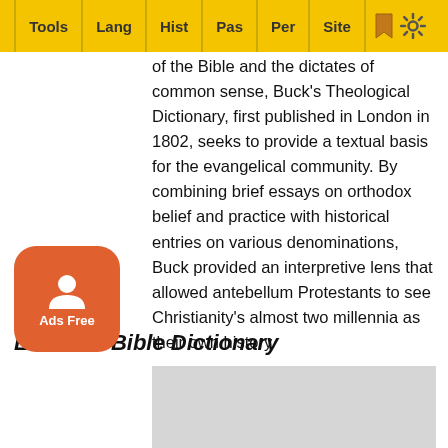Tools | Lang | Hist | Pas | Per | Site
of the Bible and the dictates of common sense, Buck's Theological Dictionary, first published in London in 1802, seeks to provide a textual basis for the evangelical community. By combining brief essays on orthodox belief and practice with historical entries on various denominations, Buck provided an interpretive lens that allowed antebellum Protestants to see Christianity's almost two millennia as their own history.
Easton's Bible Dictionary
Easton's Bible Dictionary was written by Matthew George Easton, who lived from 1823-1894. This Scottish Presbyterian's other significant literary achievements were his English translations of two of Franz Delitzsch's
[Figure (other): Gray advertisement placeholder box at bottom of page]
[Figure (other): Ads Free button - orange rounded square with person icon and text 'Ads Free']